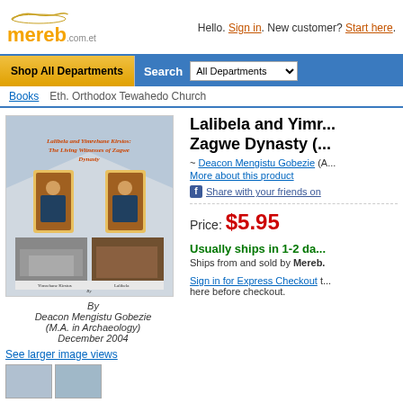[Figure (logo): Mereb.com.et logo with grain arc and orange text]
Hello. Sign in. New customer? Start here.
Shop All Departments   Search All Departments
Books   Eth. Orthodox Tewahedo Church
[Figure (photo): Book cover: Lalibela and Yimrehane Kirstos: The Living Witnesses of Zagwe Dynasty by Deacon Mengistu Gobezie (M.A. in Archaeology) December 2004, with images of Lalibela churches and historical figures]
See larger image views
Lalibela and Yimrehane Kirstos: The Living Witnesses of Zagwe Dynasty (...)
~ Deacon Mengistu Gobezie (A... More about this product
Share with your friends on Facebook
Price: $5.95
Usually ships in 1-2 days. Ships from and sold by Mereb.
Sign in for Express Checkout to save time. Enter your details here before checkout.